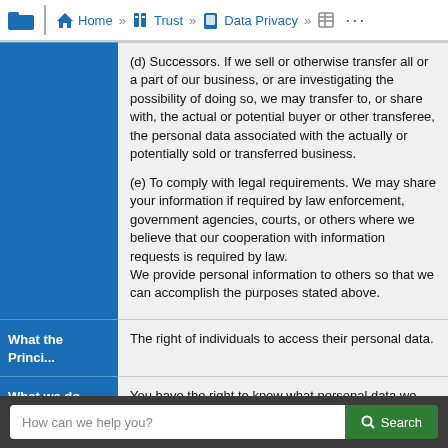Home » Trust » Data Privacy »
(d) Successors. If we sell or otherwise transfer all or a part of our business, or are investigating the possibility of doing so, we may transfer to, or share with, the actual or potential buyer or other transferee, the personal data associated with the actually or potentially sold or transferred business.
(e) To comply with legal requirements. We may share your information if required by law enforcement, government agencies, courts, or others where we believe that our cooperation with information requests is required by law. We provide personal information to others so that we can accomplish the purposes stated above.
What the Princi... The right of individuals to access their personal data.
What we do. You have the right to know what personal data we possess about you. You can access that personal